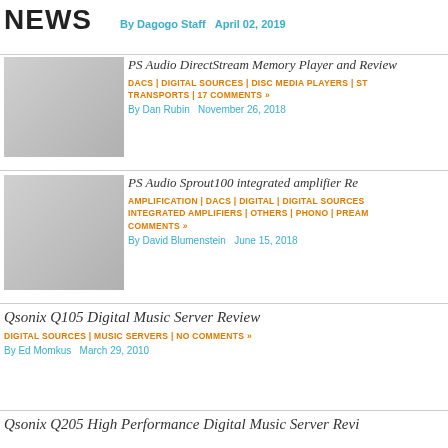NEWS  By Dagogo Staff  April 02, 2019
PS Audio DirectStream Memory Player and Review
DACS | DIGITAL SOURCES | DISC MEDIA PLAYERS | ST TRANSPORTS | 17 COMMENTS »
By Dan Rubin  November 26, 2018
[Figure (photo): PS Audio DirectStream Memory Player device photo]
PS Audio Sprout100 integrated amplifier Re
AMPLIFICATION | DACS | DIGITAL | DIGITAL SOURCES | INTEGRATED AMPLIFIERS | OTHERS | PHONO | PREAM COMMENTS »
By David Blumenstein  June 15, 2018
[Figure (photo): PS Audio Sprout100 integrated amplifier device photo]
Qsonix Q105 Digital Music Server Review
DIGITAL SOURCES | MUSIC SERVERS | NO COMMENTS »
By Ed Momkus  March 29, 2010
Qsonix Q205 High Performance Digital Music Server Revi